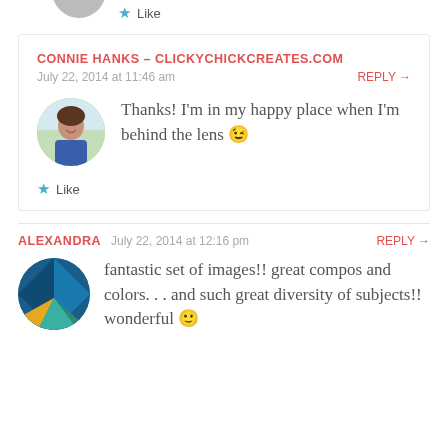[Figure (photo): Partial avatar image at top, cropped circle]
★ Like
CONNIE HANKS - CLICKYCHICKCREATES.COM
July 22, 2014 at 11:46 am
REPLY →
[Figure (photo): Circular avatar of a woman smiling, blue top, outdoor background]
Thanks! I'm in my happy place when I'm behind the lens 😉
★ Like
ALEXANDRA
July 22, 2014 at 12:16 pm
REPLY →
[Figure (photo): Circular avatar with abstract blue and teal geometric shapes]
fantastic set of images!! great compos and colors. . . and such great diversity of subjects!! wonderful 🙂